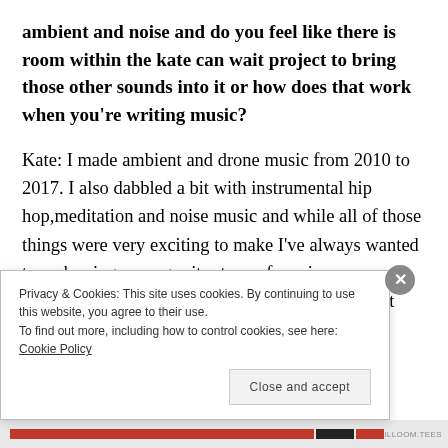ambient and noise and do you feel like there is room within the kate can wait project to bring those other sounds into it or how does that work when you're writing music?
Kate: I made ambient and drone music from 2010 to 2017. I also dabbled a bit with instrumental hip hop,meditation and noise music and while all of those things were very exciting to make I've always wanted to make singer-songwriter type of music. Experimental music is very gratifying to make but sometimes you just
Privacy & Cookies: This site uses cookies. By continuing to use this website, you agree to their use.
To find out more, including how to control cookies, see here: Cookie Policy
Close and accept